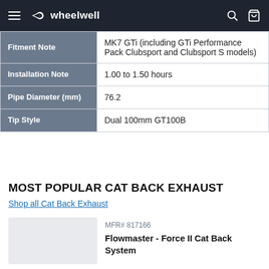wheelwell
| Attribute | Value |
| --- | --- |
| Fitment Note | MK7 GTi (including GTi Performance Pack Clubsport and Clubsport S models) |
| Installation Note | 1.00 to 1.50 hours |
| Pipe Diameter (mm) | 76.2 |
| Tip Style | Dual 100mm GT100B |
MOST POPULAR CAT BACK EXHAUST
Shop all Cat Back Exhaust
MFR# 817166
Flowmaster - Force II Cat Back System